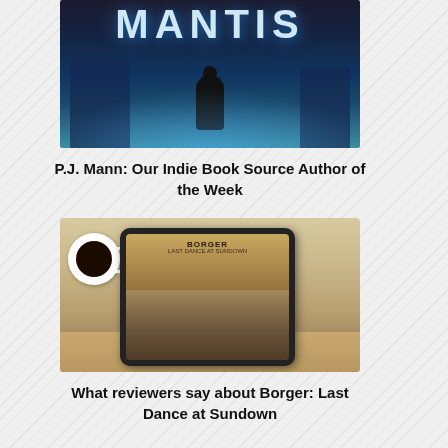[Figure (illustration): Book cover image for 'Mantis' showing a dark figure standing in front of illuminated buildings at night with blue glowing atmosphere]
P.J. Mann: Our Indie Book Source Author of the Week
[Figure (photo): A tablet device displaying the book cover of 'Borger: Last Dance at Sundown', placed on a wooden table next to a cup of black coffee]
What reviewers say about Borger: Last Dance at Sundown